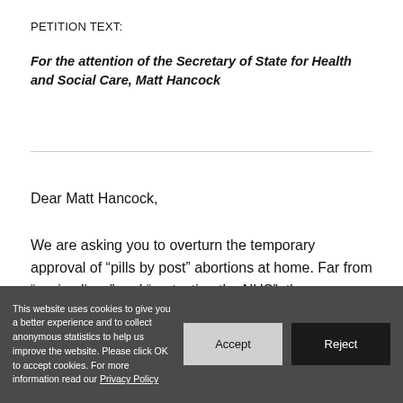PETITION TEXT:
For the attention of the Secretary of State for Health and Social Care, Matt Hancock
Dear Matt Hancock,
We are asking you to overturn the temporary approval of “pills by post” abortions at home. Far from “saving lives” and “protecting the NHS”, these new measures have claimed the lives of an estimated 46,000 babies
This website uses cookies to give you a better experience and to collect anonymous statistics to help us improve the website. Please click OK to accept cookies. For more information read our Privacy Policy